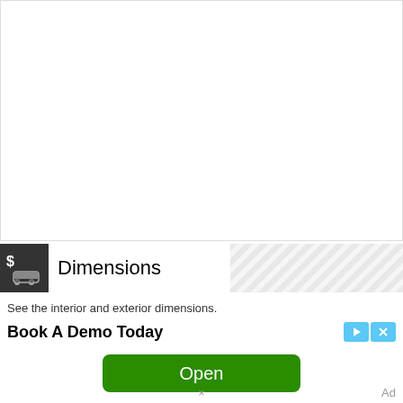[Figure (other): White empty content area above advertisement banner]
Dimensions
See the interior and exterior dimensions.
Book A Demo Today
[Figure (other): Green Open button for advertisement]
Ad